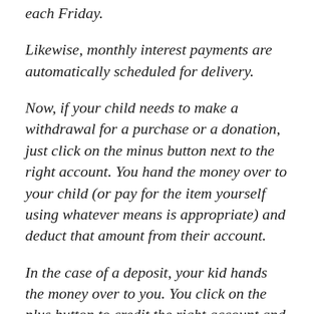each Friday.
Likewise, monthly interest payments are automatically scheduled for delivery.
Now, if your child needs to make a withdrawal for a purchase or a donation, just click on the minus button next to the right account. You hand the money over to your child (or pay for the item yourself using whatever means is appropriate) and deduct that amount from their account.
In the case of a deposit, your kid hands the money over to you. You click on the plus button to credit the right account and put the real money wherever